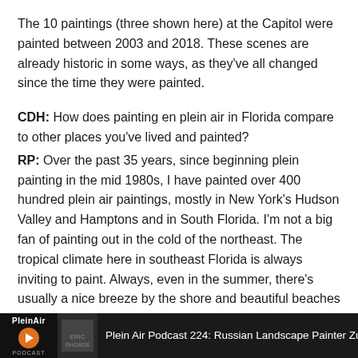The 10 paintings (three shown here) at the Capitol were painted between 2003 and 2018. These scenes are already historic in some ways, as they've all changed since the time they were painted.
CDH: How does painting en plein air in Florida compare to other places you've lived and painted?
RP: Over the past 35 years, since beginning plein painting in the mid 1980s, I have painted over 400 hundred plein air paintings, mostly in New York's Hudson Valley and Hamptons and in South Florida. I'm not a big fan of painting out in the cold of the northeast. The tropical climate here in southeast Florida is always inviting to paint. Always, even in the summer, there's usually a nice breeze by the shore and beautiful beaches and saw grasslands to paint.
Plein Air Podcast 224: Russian Landscape Painter Zufar Bikbo